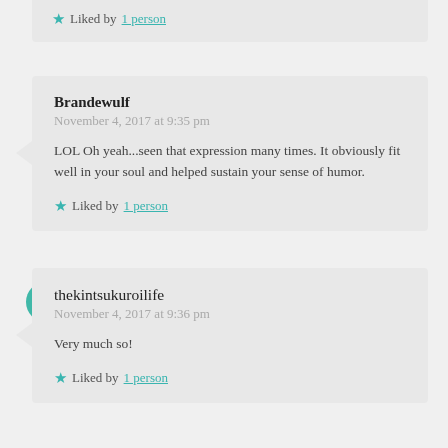Liked by 1 person
Brandewulf
November 4, 2017 at 9:35 pm

LOL Oh yeah...seen that expression many times. It obviously fit well in your soul and helped sustain your sense of humor.

Liked by 1 person
thekintsukuroilife
November 4, 2017 at 9:36 pm

Very much so!

Liked by 1 person